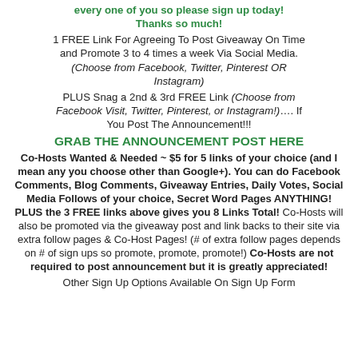every one of you so please sign up today! Thanks so much!
1 FREE Link For Agreeing To Post Giveaway On Time and Promote 3 to 4 times a week Via Social Media. (Choose from Facebook, Twitter, Pinterest OR Instagram)
PLUS Snag a 2nd & 3rd FREE Link (Choose from Facebook Visit, Twitter, Pinterest, or Instagram!)…. If You Post The Announcement!!!
GRAB THE ANNOUNCEMENT POST HERE
Co-Hosts Wanted & Needed ~ $5 for 5 links of your choice (and I mean any you choose other than Google+). You can do Facebook Comments, Blog Comments, Giveaway Entries, Daily Votes, Social Media Follows of your choice, Secret Word Pages ANYTHING! PLUS the 3 FREE links above gives you 8 Links Total! Co-Hosts will also be promoted via the giveaway post and link backs to their site via extra follow pages & Co-Host Pages! (# of extra follow pages depends on # of sign ups so promote, promote, promote!) Co-Hosts are not required to post announcement but it is greatly appreciated!
Other Sign Up Options Available On Sign Up Form